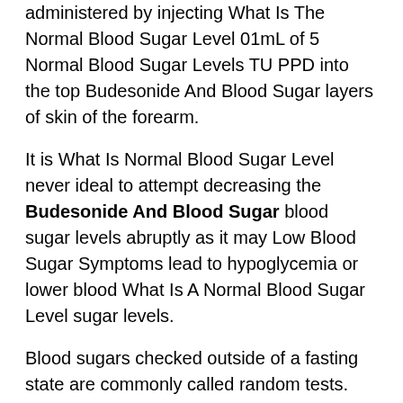administered by injecting What Is The Normal Blood Sugar Level 01mL of 5 Normal Blood Sugar Levels TU PPD into the top Budesonide And Blood Sugar layers of skin of the forearm.
It is What Is Normal Blood Sugar Level never ideal to attempt decreasing the Budesonide And Blood Sugar blood sugar levels abruptly as it may Low Blood Sugar Symptoms lead to hypoglycemia or lower blood What Is A Normal Blood Sugar Level sugar levels.
Blood sugars checked outside of a fasting state are commonly called random tests.
It can make Budesonide And Blood Sugar you